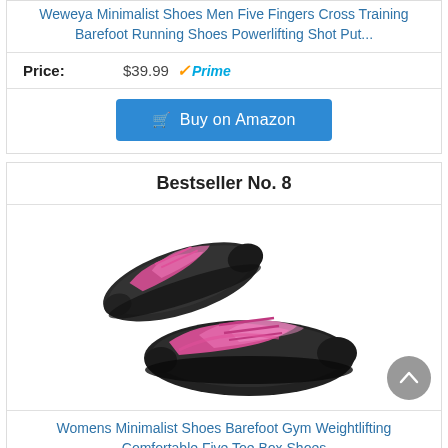Weweya Minimalist Shoes Men Five Fingers Cross Training Barefoot Running Shoes Powerlifting Shot Put...
Price: $39.99 Prime
Buy on Amazon
Bestseller No. 8
[Figure (photo): Two dark gray and pink minimalist barefoot shoes displayed at an angle]
Womens Minimalist Shoes Barefoot Gym Weightlifting Comfortable Five Toe Box Shoes